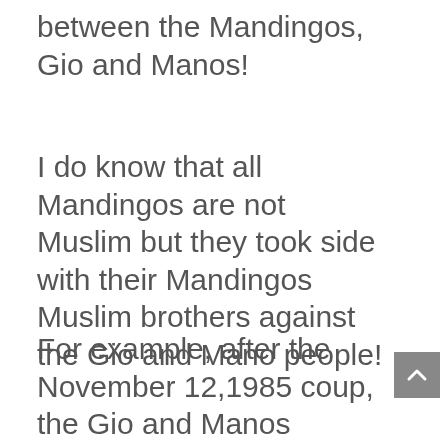between the Mandingos, Gio and Manos!
I do know that all Mandingos are not Muslim but they took side with their Mandingos Muslim brothers against the Gio and Mano people!
For example, after the November 12,1985 coup, the Gio and Manos people who were working at VOA in Careysburg were targeted by the Krahn AFL soldiers and the